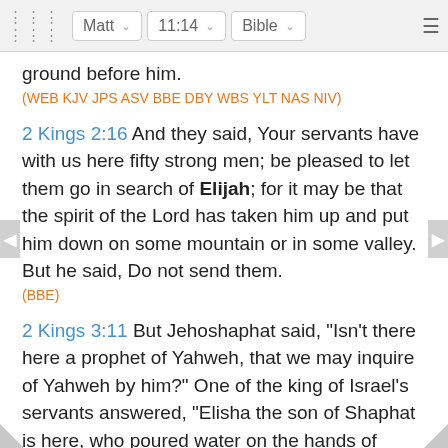⠿  Matt ∨  11:14 ∨  Bible ∨  ≡
ground before him.
(WEB KJV JPS ASV BBE DBY WBS YLT NAS NIV)
2 Kings 2:16 And they said, Your servants have with us here fifty strong men; be pleased to let them go in search of Elijah; for it may be that the spirit of the Lord has taken him up and put him down on some mountain or in some valley. But he said, Do not send them.
(BBE)
2 Kings 3:11 But Jehoshaphat said, "Isn't there here a prophet of Yahweh, that we may inquire of Yahweh by him?" One of the king of Israel's servants answered, "Elisha the son of Shaphat is here, who poured water on the hands of Elijah."
(WEB KJV JPS ASV BBE DBY WBS YLT NAS NIV)